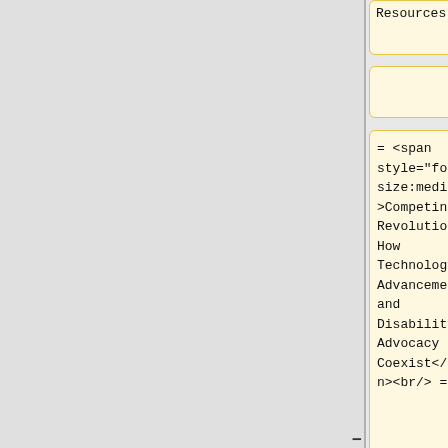Resources]
= <span style="font-size:medium">Competing Revolutions: How Technology Advancement and Disability Advocacy Can Coexist</span><br/> =
March 15, 2016 (1:00 - 2:30 ET)
May 19, 2015 (10:30 - 12:00 ET)
''Presenters: ''<br/>Jim Tobias,